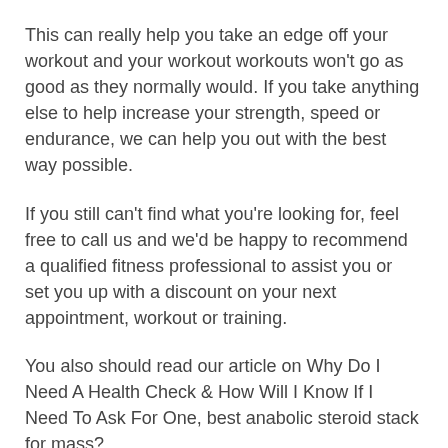This can really help you take an edge off your workout and your workout workouts won't go as good as they normally would. If you take anything else to help increase your strength, speed or endurance, we can help you out with the best way possible.
If you still can't find what you're looking for, feel free to call us and we'd be happy to recommend a qualified fitness professional to assist you or set you up with a discount on your next appointment, workout or training.
You also should read our article on Why Do I Need A Health Check & How Will I Know If I Need To Ask For One, best anabolic steroid stack for mass?
How To Take Steroids With Fitness Trainers
Our first and most important tip when it